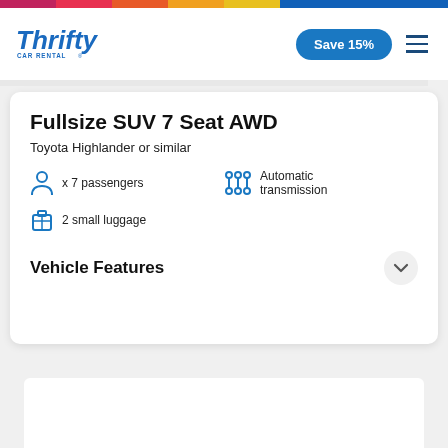Thrifty Car Rental — Save 15%
Fullsize SUV 7 Seat AWD
Toyota Highlander or similar
x 7 passengers
Automatic transmission
2 small luggage
Vehicle Features